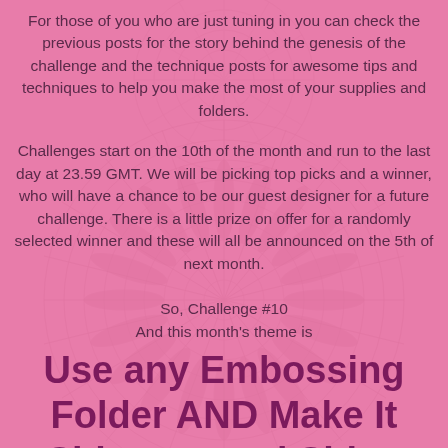For those of you who are just tuning in you can check the previous posts for the story behind the genesis of the challenge and the technique posts for awesome tips and techniques to help you make the most of your supplies and folders.
Challenges start on the 10th of the month and run to the last day at 23.59 GMT.  We will be picking top picks and a winner, who will have a chance to be our guest designer for a future challenge.  There is a little prize on offer for a randomly selected winner and these will all be announced on the 5th of next month.
So, Challenge #10
And this month's theme is
Use any Embossing Folder AND Make It Shimmer and Shine